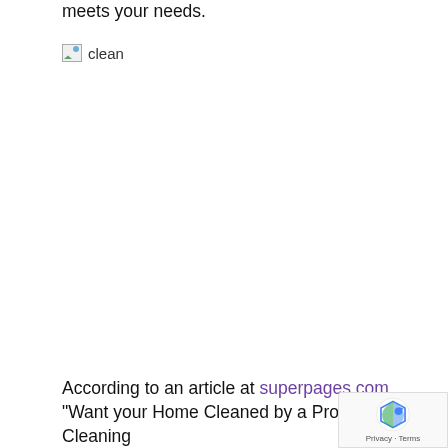meets your needs.
[Figure (photo): Broken image placeholder with alt text 'clean']
According to an article at superpages.com, "Want your Home Cleaned by a Professional Cleaning